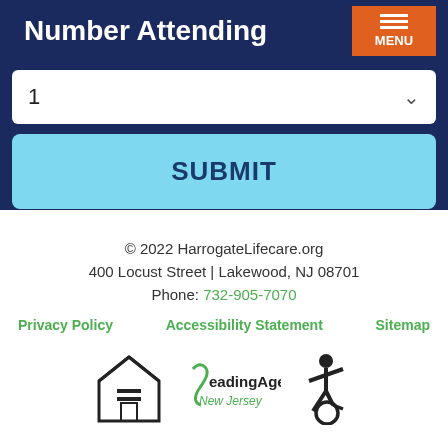Number Attending
1
SUBMIT
© 2022 HarrogateLifecare.org
400 Locust Street | Lakewood, NJ 08701
Phone: 732-905-7070
Privacy Policy
Accessibility Statement
Sitemap
[Figure (logo): Equal Housing Opportunity logo]
[Figure (logo): LeadingAge New Jersey logo]
[Figure (logo): Accessibility wheelchair icon]